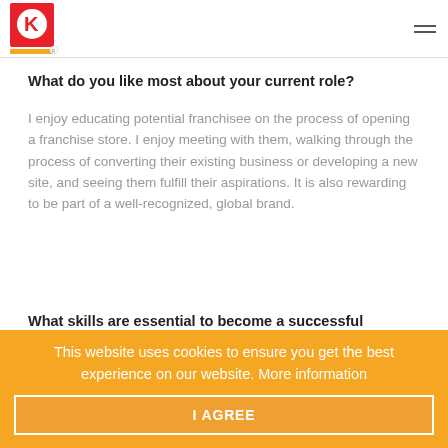Circle K
What do you like most about your current role?
I enjoy educating potential franchisee on the process of opening a franchise store. I enjoy meeting with them, walking through the process of converting their existing business or developing a new site, and seeing them fulfill their aspirations. It is also rewarding to be part of a well-recognized, global brand.
What skills are essential to become a successful franchisee?
Franchisee should be passionate about the Circle K...
This website uses cookies to ensure you get the best experience on our website. More information
I AGREE